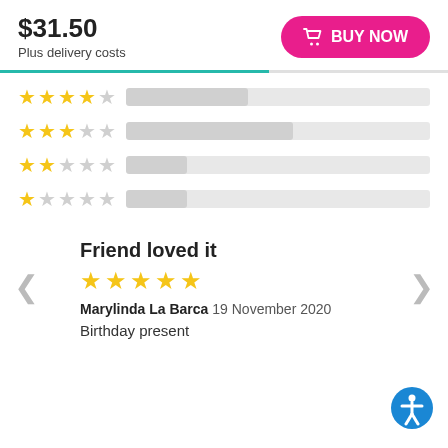$31.50
Plus delivery costs
BUY NOW
[Figure (infographic): Star rating rows: 4 stars, 3 stars, 2 stars, 1 star each with a grey progress bar]
Friend loved it
5 star rating
Marylinda La Barca 19 November 2020
Birthday present